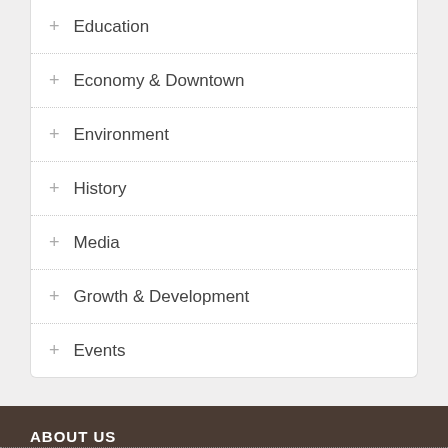+ Education
+ Economy & Downtown
+ Environment
+ History
+ Media
+ Growth & Development
+ Events
ABOUT US
OrangePolitics is a not-for-profit website for discussing progressive perspectives on politics, planning, and public policy in Orange County, NC. Opinions are those of their authors. Learn more.